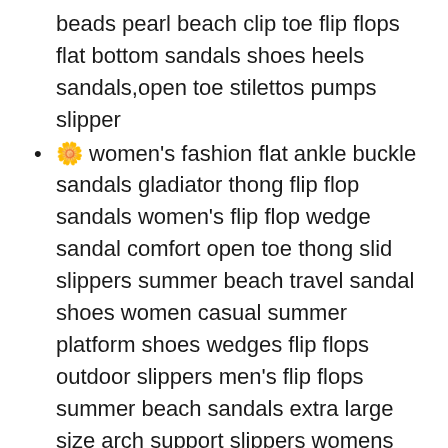beads pearl beach clip toe flip flops flat bottom sandals shoes heels sandals,open toe stilettos pumps slipper
🌼 women's fashion flat ankle buckle sandals gladiator thong flip flop sandals women's flip flop wedge sandal comfort open toe thong slid slippers summer beach travel sandal shoes women casual summer platform shoes wedges flip flops outdoor slippers men's flip flops summer beach sandals extra large size arch support slippers womens comfy flats bow tie sliders fabric slip on slides sandals women's mid heel platform wedges sandals women's spark wedge sandal classified